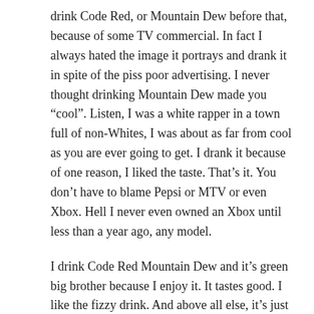drink Code Red, or Mountain Dew before that, because of some TV commercial. In fact I always hated the image it portrays and drank it in spite of the piss poor advertising. I never thought drinking Mountain Dew made you “cool”. Listen, I was a white rapper in a town full of non-Whites, I was about as far from cool as you are ever going to get. I drank it because of one reason, I liked the taste. That’s it. You don’t have to blame Pepsi or MTV or even Xbox. Hell I never even owned an Xbox until less than a year ago, any model.
I drink Code Red Mountain Dew and it’s green big brother because I enjoy it. It tastes good. I like the fizzy drink. And above all else, it’s just one of those little things in this life that helps me get through the day. Enjoy the things you enjoy in life. Tell the haters to go jump off a bridge with all the other sheep.